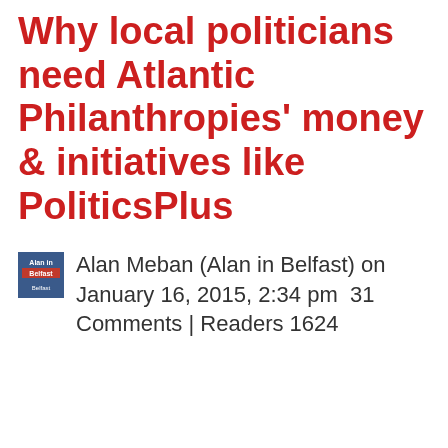Why local politicians need Atlantic Philanthropies' money & initiatives like PoliticsPlus
Alan Meban (Alan in Belfast) on January 16, 2015, 2:34 pm  31 Comments | Readers 1624